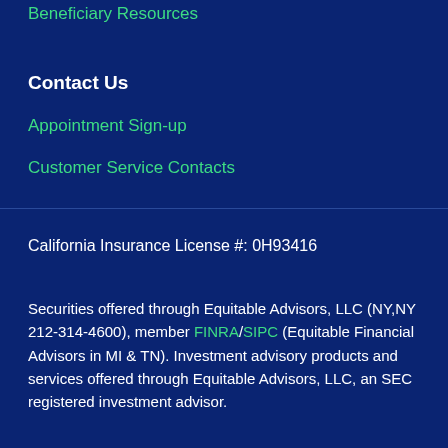Beneficiary Resources
Contact Us
Appointment Sign-up
Customer Service Contacts
California Insurance License #: 0H93416
Securities offered through Equitable Advisors, LLC (NY,NY 212-314-4600), member FINRA/SIPC (Equitable Financial Advisors in MI & TN). Investment advisory products and services offered through Equitable Advisors, LLC, an SEC registered investment advisor.